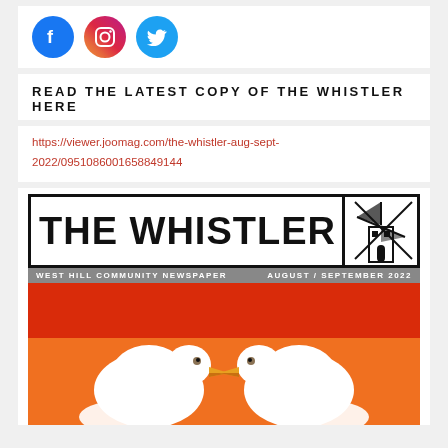[Figure (illustration): Three social media icons: Facebook (blue circle with f), Instagram (pink/magenta circle with camera icon), Twitter (blue circle with bird icon)]
READ THE LATEST COPY OF THE WHISTLER HERE
https://viewer.joomag.com/the-whistler-aug-sept-2022/0951086001658849144
[Figure (illustration): The Whistler magazine cover showing newspaper masthead with windmill logo, subheader 'WEST HILL COMMUNITY NEWSPAPER  AUGUST / SEPTEMBER 2022', and cover image with two seagulls facing each other on red and orange background with speech bubbles]